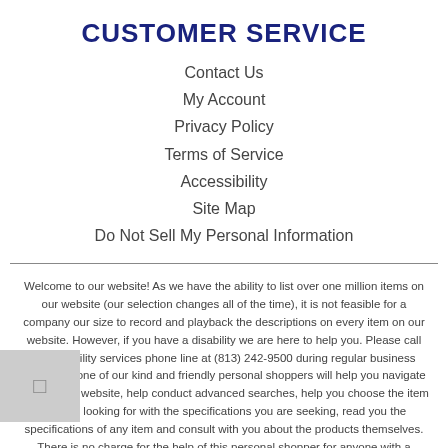CUSTOMER SERVICE
Contact Us
My Account
Privacy Policy
Terms of Service
Accessibility
Site Map
Do Not Sell My Personal Information
Welcome to our website! As we have the ability to list over one million items on our website (our selection changes all of the time), it is not feasible for a company our size to record and playback the descriptions on every item on our website. However, if you have a disability we are here to help you. Please call our disability services phone line at (813) 242-9500 during regular business hours and one of our kind and friendly personal shoppers will help you navigate through our website, help conduct advanced searches, help you choose the item you are looking for with the specifications you are seeking, read you the specifications of any item and consult with you about the products themselves. There is no charge for the help of this personal shopper for anyone with a disability. Finally, your